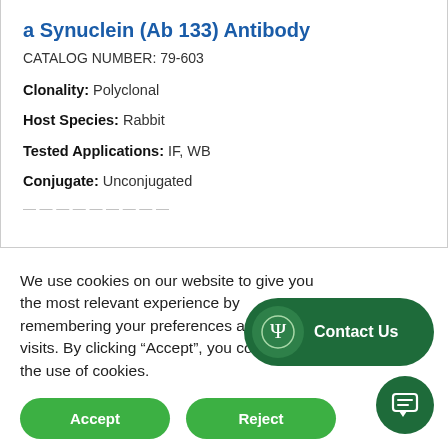a Synuclein (Ab 133) Antibody
CATALOG NUMBER: 79-603
Clonality: Polyclonal
Host Species: Rabbit
Tested Applications: IF, WB
Conjugate: Unconjugated
We use cookies on our website to give you the most relevant experience by remembering your preferences and repeat visits. By clicking “Accept”, you consent to the use of cookies.
Accept
Reject
Contact Us